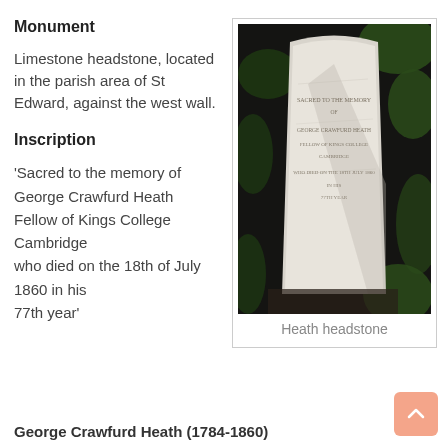Monument
Limestone headstone, located in the parish area of St Edward, against the west wall.
Inscription
‘Sacred to the memory of
George Crawfurd Heath
Fellow of Kings College Cambridge
who died on the 18th of July 1860 in his
77th year’
[Figure (photo): Photograph of a limestone headstone for George Crawfurd Heath, set against green foliage and a dark background. The stone inscription is partially visible.]
Heath headstone
George Crawfurd Heath (1784-1860)